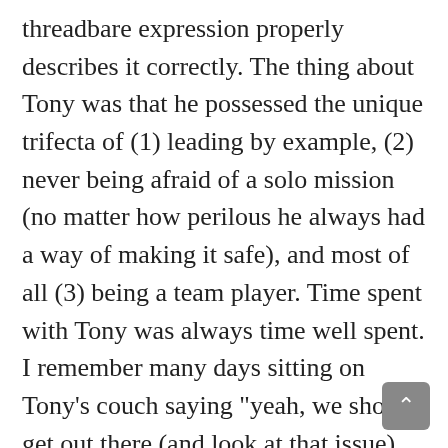threadbare expression properly describes it correctly. The thing about Tony was that he possessed the unique trifecta of (1) leading by example, (2) never being afraid of a solo mission (no matter how perilous he always had a way of making it safe), and most of all (3) being a team player. Time spent with Tony was always time well spent. I remember many days sitting on Tony’s couch saying “yeah, we should get out there (and look at that issue) some day. “Let’s go now,” was always his predicable response. Tony knew the fine art of seizing the day whatever it took. That’s probably the core essence of what The Tony Doctrine is all about.